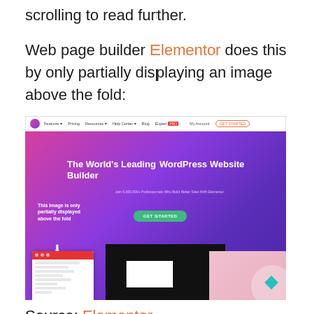scrolling to read further.
Web page builder Elementor does this by only partially displaying an image above the fold:
[Figure (screenshot): Screenshot of the Elementor website homepage showing 'The World's Leading WordPress Website Builder' hero section with a gradient pink-to-purple background, navigation bar, GET STARTED button, and an annotation 'This image is only partially displayed above the fold' with a downward arrow. Below the hero is a partial view showing an editor panel, black rectangle, white rectangle, and pink section.]
Source: Elementor